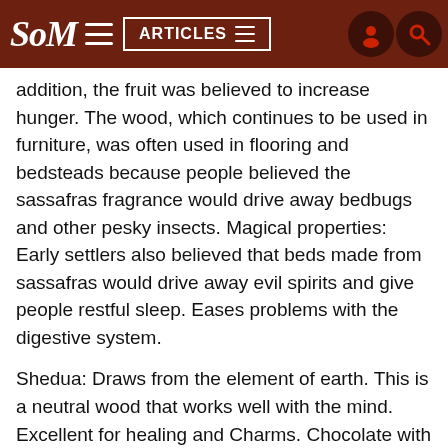SoM | ARTICLES
addition, the fruit was believed to increase hunger. The wood, which continues to be used in furniture, was often used in flooring and bedsteads because people believed the sassafras fragrance would drive away bedbugs and other pesky insects. Magical properties: Early settlers also believed that beds made from sassafras would drive away evil spirits and give people restful sleep. Eases problems with the digestive system.
Shedua: Draws from the element of earth. This is a neutral wood that works well with the mind. Excellent for healing and Charms. Chocolate with dark gray strips.
Sipo/Utile: Good mahogany substitute.
Snakewood: Named for its mottled, snakeskin appearance, Snakewood was also used as a remedy for fever and